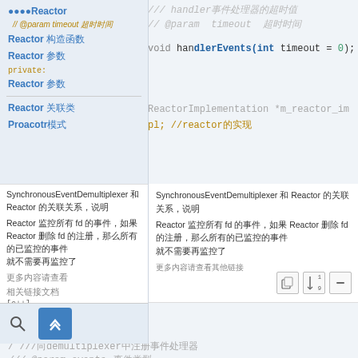[Figure (screenshot): Screenshot of a C++ documentation page with a navigation sidebar on the left showing class members (Reactor items, Proacotr, etc.) and a code view on the right showing code with comments in Chinese/Japanese characters, including class EventDemultiplexer definition and void handleEvents(int timeout = 0) method. Toolbar icons visible. Bottom shows public: section with comments.]
SynchronousEventDemultiplexer 和 Reactor 的关联关系，说明
Reactor 监控所有 fd 的事件，如果 Reactor 删除 fd 的注册，那么所有的已监控的事件
就不需要再监控了
class EventDemultiplexer
public:
/// 向demultiplexer中注册事件处理器
/// @param  events  事件类型